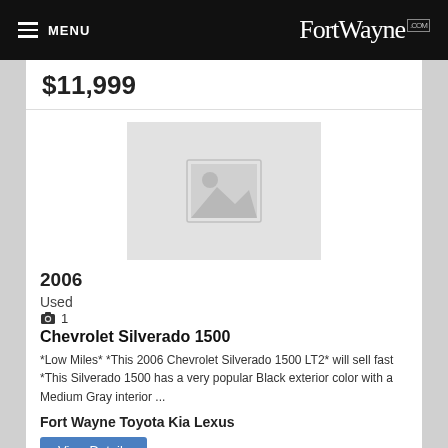MENU  FortWayne.com
$11,999
[Figure (photo): Placeholder image thumbnail for vehicle listing]
2006
Used
1
Chevrolet Silverado 1500
*Low Miles* *This 2006 Chevrolet Silverado 1500 LT2* will sell fast *This Silverado 1500 has a very popular Black exterior color with a Medium Gray interior ...
Fort Wayne Toyota Kia Lexus
View Details